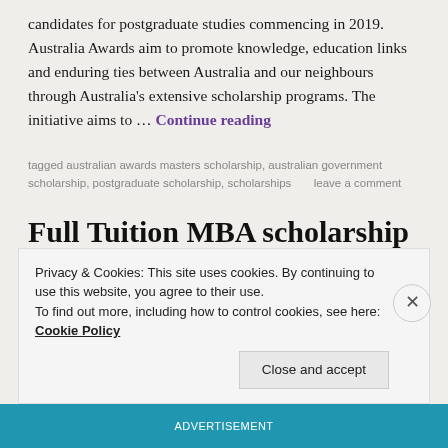candidates for postgraduate studies commencing in 2019. Australia Awards aim to promote knowledge, education links and enduring ties between Australia and our neighbours through Australia's extensive scholarship programs. The initiative aims to … Continue reading
tagged australian awards masters scholarship, australian government scholarship, postgraduate scholarship, scholarships     leave a comment
Full Tuition MBA scholarship for International students
Privacy & Cookies: This site uses cookies. By continuing to use this website, you agree to their use. To find out more, including how to control cookies, see here: Cookie Policy
Close and accept